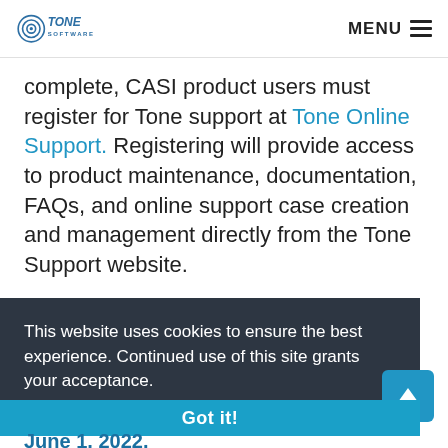Tone Software | MENU
complete, CASI product users must register for Tone support at Tone Online Support. Registering will provide access to product maintenance, documentation, FAQs, and online support case creation and management directly from the Tone Support website.
This website uses cookies to ensure the best experience. Continued use of this site grants your acceptance.
Got it!
June 1, 2022.